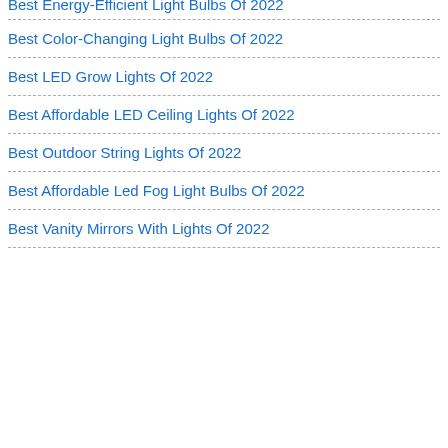Best Energy-Efficient Light Bulbs Of 2022
Best Color-Changing Light Bulbs Of 2022
Best LED Grow Lights Of 2022
Best Affordable LED Ceiling Lights Of 2022
Best Outdoor String Lights Of 2022
Best Affordable Led Fog Light Bulbs Of 2022
Best Vanity Mirrors With Lights Of 2022